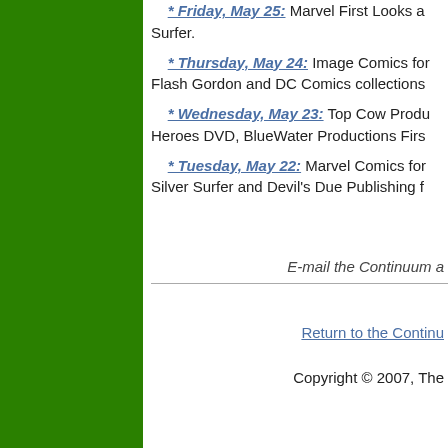* Friday, May 25: Marvel First Looks at Silver Surfer.
* Thursday, May 24: Image Comics for Flash Gordon and DC Comics collections
* Wednesday, May 23: Top Cow Productions, Heroes DVD, BlueWater Productions Firs
* Tuesday, May 22: Marvel Comics for Silver Surfer and Devil's Due Publishing f
E-mail the Continuum a
Return to the Continu
Copyright © 2007, The